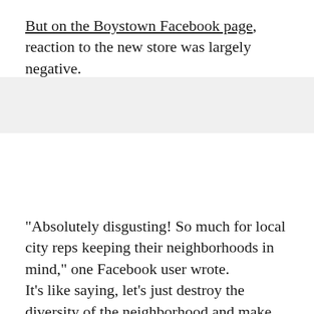But on the Boystown Facebook page, reaction to the new store was largely negative.
"Absolutely disgusting! So much for local city reps keeping their neighborhoods in mind," one Facebook user wrote. It's like saying, let's just destroy the diversity of the neighborhood and make them like all the suburbs."
Another simply wrote that "Boystown is in BIG trouble."
Even as shelves appeared in preparation for opening the store in late October, hostile messages opposing